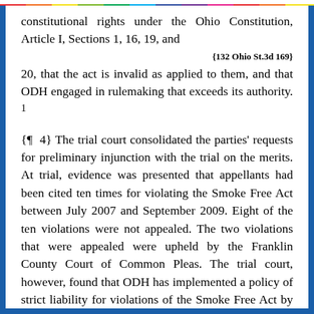constitutional rights under the Ohio Constitution, Article I, Sections 1, 16, 19, and
[132 Ohio St.3d 169]
20, that the act is invalid as applied to them, and that ODH engaged in rulemaking that exceeds its authority. 1
{¶ 4} The trial court consolidated the parties' requests for preliminary injunction with the trial on the merits. At trial, evidence was presented that appellants had been cited ten times for violating the Smoke Free Act between July 2007 and September 2009. Eight of the ten violations were not appealed. The two violations that were appealed were upheld by the Franklin County Court of Common Pleas. The trial court, however, found that ODH has implemented a policy of strict liability for violations of the Smoke Free Act by issuing fines regardless of whether the appellants were actually "permitting" smoking to occur at Zeno's. The court observed, "Property owners,